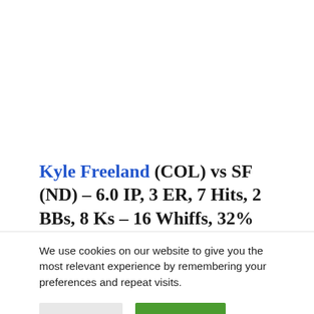Kyle Freeland (COL) vs SF (ND) – 6.0 IP, 3 ER, 7 Hits, 2 BBs, 8 Ks – 16 Whiffs, 32% CSW, 103 pitches. A VPQS with eight strikeouts inside
We use cookies on our website to give you the most relevant experience by remembering your preferences and repeat visits.